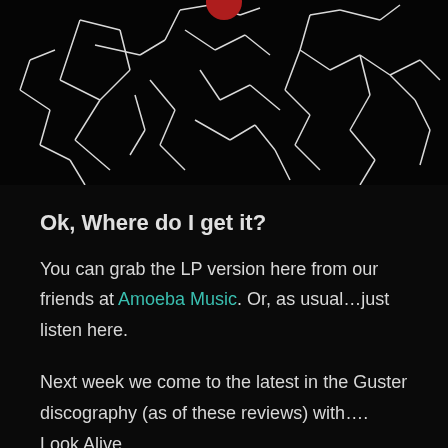[Figure (photo): Dark/black album artwork with white abstract chaotic line art figures against a black background, partially cropped at top]
Ok, Where do I get it?
You can grab the LP version here from our friends at Amoeba Music. Or, as usual…just listen here.
Next week we come to the latest in the Guster discography (as of these reviews) with…. Look Alive.
Till then…